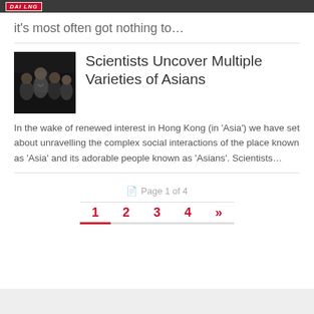DAI LNG (logo/header bar)
it's most often got nothing to…
[Figure (photo): Photo of shirtless men in a crowd at night]
Scientists Uncover Multiple Varieties of Asians
In the wake of renewed interest in Hong Kong (in 'Asia') we have set about unravelling the complex social interactions of the place known as 'Asia' and its adorable people known as 'Asians'. Scientists…
Page 1 of 4
1 2 3 4 »